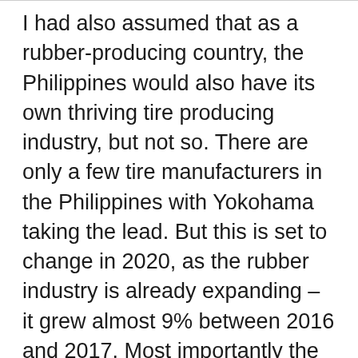I had also assumed that as a rubber-producing country, the Philippines would also have its own thriving tire producing industry, but not so. There are only a few tire manufacturers in the Philippines with Yokohama taking the lead. But this is set to change in 2020, as the rubber industry is already expanding – it grew almost 9% between 2016 and 2017. Most importantly the Philippines government will partner with a Finnish engineering company to build a tire processing factory in North Cotabato.
This $200 million plant will be able to